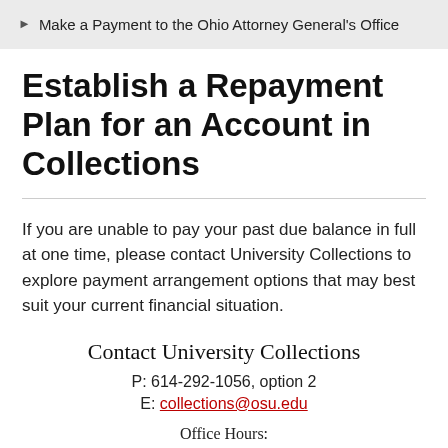Make a Payment to the Ohio Attorney General's Office
Establish a Repayment Plan for an Account in Collections
If you are unable to pay your past due balance in full at one time, please contact University Collections to explore payment arrangement options that may best suit your current financial situation.
Contact University Collections
P: 614-292-1056, option 2
E: collections@osu.edu
Office Hours: